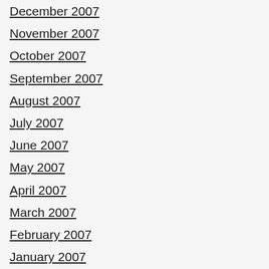December 2007
November 2007
October 2007
September 2007
August 2007
July 2007
June 2007
May 2007
April 2007
March 2007
February 2007
January 2007
December 2006
November 2006